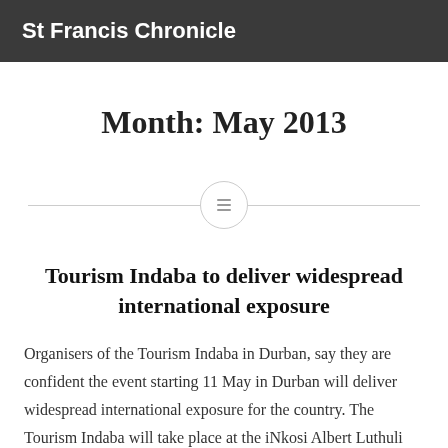St Francis Chronicle
Month: May 2013
[Figure (other): Horizontal divider with a centered circle containing a small list/menu icon]
Tourism Indaba to deliver widespread international exposure
Organisers of the Tourism Indaba in Durban,  say they are confident the event starting 11 May in Durban will deliver widespread international exposure for the country. The Tourism Indaba will take place at the iNkosi Albert Luthuli